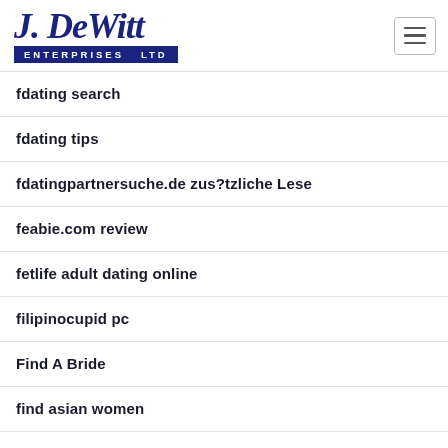[Figure (logo): J. DeWitt Enterprises Ltd logo with blue script text and blue bar with company name]
fdating search
fdating tips
fdatingpartnersuche.de zus?tzliche Lese
feabie.com review
fetlife adult dating online
filipinocupid pc
Find A Bride
find asian women